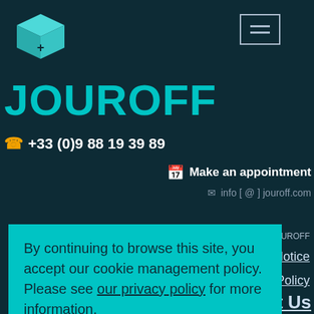[Figure (logo): 3D teal/cyan cube with a plus sign on the face, styled as a logo icon]
[Figure (other): Hamburger menu icon (three horizontal lines) in a rectangle border]
JOUROFF
+33 (0)9 88 19 39 89
Make an appointment
info [ @ ] jouroff.com
Copyright © JOUROFF
Notice
y Policy
t Us
By continuing to browse this site, you accept our cookie management policy. Please see our privacy policy for more information.
I accept